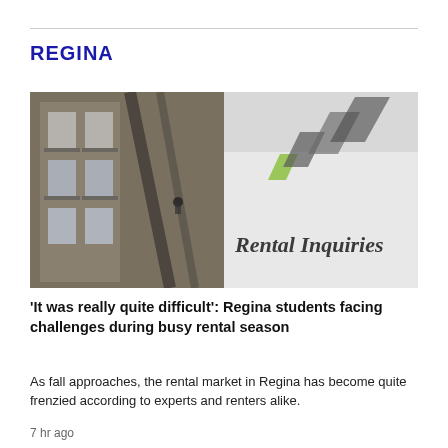REGINA
[Figure (photo): Split image showing an apartment building exterior on the left and a close-up of a sign reading 'Rental Inquiries' with a green logo on the right]
'It was really quite difficult': Regina students facing challenges during busy rental season
As fall approaches, the rental market in Regina has become quite frenzied according to experts and renters alike.
7 hr ago